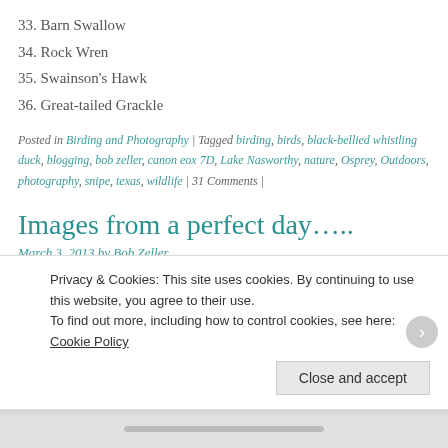33. Barn Swallow
34. Rock Wren
35. Swainson's Hawk
36. Great-tailed Grackle
Posted in Birding and Photography | Tagged birding, birds, black-bellied whistling duck, blogging, bob zeller, canon eox 7D, Lake Nasworthy, nature, Osprey, Outdoors, photography, snipe, texas, wildlife | 31 Comments |
Images from a perfect day…..
March 3, 2013 by Bob Zeller
★★★★★ ℹ 3 Votes
Saturday began as a beautiful day.  It's hard to beat 70 degrees and almost no
Privacy & Cookies: This site uses cookies. By continuing to use this website, you agree to their use.
To find out more, including how to control cookies, see here: Cookie Policy